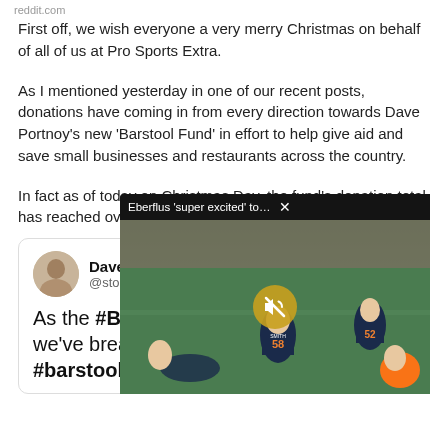reddit.com
First off, we wish everyone a very merry Christmas on behalf of all of us at Pro Sports Extra.
As I mentioned yesterday in one of our recent posts, donations have coming in from every direction towards Dave Portnoy's new 'Barstool Fund' in effort to help give aid and save small businesses and restaurants across the country.
In fact as of today on Christmas Day, the fund's donation total has reached over
[Figure (screenshot): Embedded tweet from Dave Portnoy (@stoolpresi...) showing text: 'As the #Bitcoi... we've breache... #barstoolfund...' with bold hashtags. Overlaid video popup titled 'Eberflus super excited to have Roquan ...' showing a football game scene with Chicago Bears player #58 and #52, with a mute button overlay.]